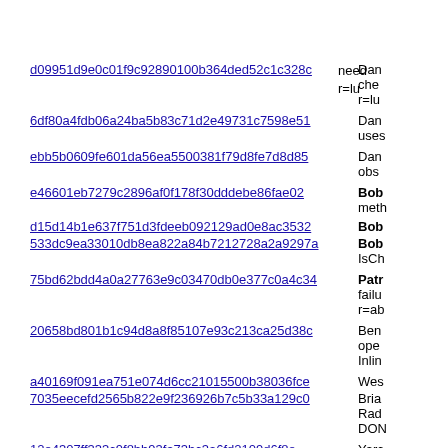need r=lu
d09951d9e0c01f9c92890100b364ded52c1c328c — Dan che r=lu
6df80a4fdb06a24ba5b83c71d2e49731c7598e51 — Dan uses
ebb5b0609fe601da56ea5500381f79d8fe7d8d85 — Dan obs
e46601eb7279c2896af0f178f30dddebe86fae02 — Bob meth
d15d14b1e637f751d3fdeeb092129ad0e8ac3532 — Bob
533dc9ea33010db8ea822a84b7212728a2a9297a — Bob IsCh
75bd62bdd4a0a27763e9c03470db0e377c0a4c34 — Patr failu r=ab
20658bd801b1c94d8a8f85107e93c213ca25d38c — Ben ope Inlin
a40169f091ea751e074d6cc21015500b38036fce — Wes
7035eecefd2565b822e9f236926b7c5b33a129c0 — Bria Rad DON
12e4307ff333c9f8bb93fa73bc3a6fd2109d6f8e — Yarc ToPr
6c0117fbfe6951225ffa503bee4c1fcba53b00ed — Yarc lonE